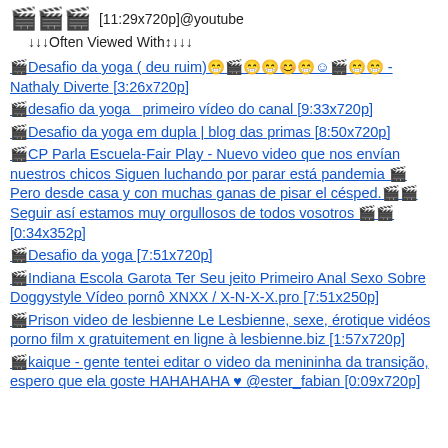🎬🎬🎬 [11:29x720p]@youtube
↓↓↓Often Viewed With↕↓↓↓
🎬Desafio da yoga ( deu ruim)😁🎬😁😁😊😁☺🎬😁😁 - Nathaly Diverte [3:26x720p]
🎬desafio da yoga   primeiro vídeo do canal [9:33x720p]
🎬Desafio da yoga em dupla | blog das primas [8:50x720p]
🎬CP Parla Escuela-Fair Play - Nuevo video que nos envían nuestros chicos Siguen luchando por parar está pandemia 🎬 Pero desde casa y con muchas ganas de pisar el césped.🎬🎬 Seguir así estamos muy orgullosos de todos vosotros 🎬🎬 [0:34x352p]
🎬Desafio da yoga [7:51x720p]
🎬Indiana Escola Garota Ter Seu jeito Primeiro Anal Sexo Sobre Doggystyle Vídeo pornô XNXX / X-N-X-X.pro [7:51x250p]
🎬Prison video de lesbienne Le Lesbienne, sexe, érotique vidéos porno film x gratuitement en ligne à lesbienne.biz [1:57x720p]
🎬kaique - gente tentei editar o video da menininha da transição, espero que ela goste HAHAHAHA ♥ @ester_fabian [0:09x720p]